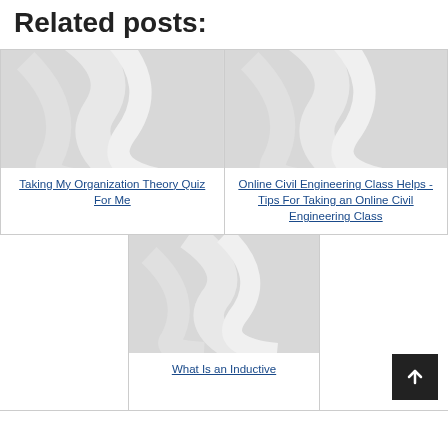Related posts:
[Figure (illustration): Placeholder image with grey diagonal swoosh pattern for 'Taking My Organization Theory Quiz For Me' post]
Taking My Organization Theory Quiz For Me
[Figure (illustration): Placeholder image with grey diagonal swoosh pattern for 'Online Civil Engineering Class Helps - Tips For Taking an Online Civil Engineering Class' post]
Online Civil Engineering Class Helps - Tips For Taking an Online Civil Engineering Class
[Figure (illustration): Placeholder image with grey diagonal swoosh pattern for 'What Is an Inductive' post]
What Is an Inductive